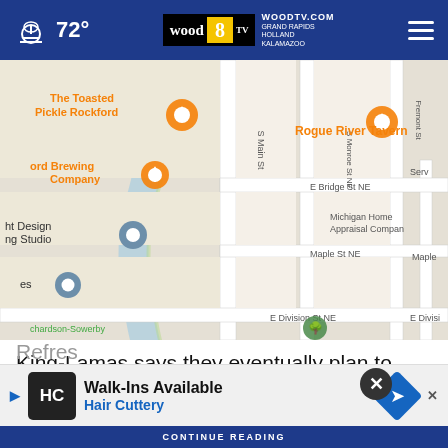72° WOODTV.COM GRAND RAPIDS HOLLAND KALAMAZOO — wood8 TV
[Figure (map): Google Maps street map of Rockford area showing The Toasted Pickle Rockford, Rogue River Tavern, ord Brewing Company, ht Design ng Studio locations along S Main St, S Monroe St NE, Fremont St, S Fremont St NE, E Bridge St NE, Maple St NE, E Division St NE]
King-Lamas says they eventually plan to pursue a license to sell beer and wine, allowing them to take advantage of...
Refresh...
[Figure (screenshot): Advertisement banner for Hair Cuttery: Walk-Ins Available, Hair Cuttery logo with HC monogram]
CONTINUE READING